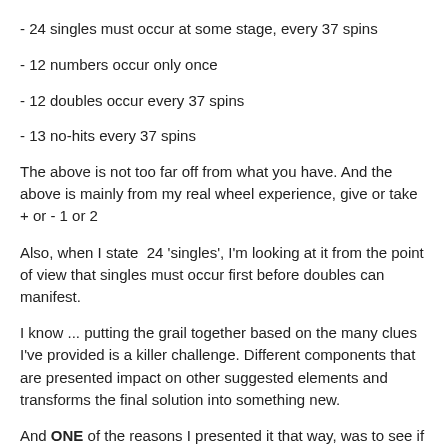- 24 singles must occur at some stage, every 37 spins
- 12 numbers occur only once
- 12 doubles occur every 37 spins
- 13 no-hits every 37 spins
The above is not too far off from what you have. And the above is mainly from my real wheel experience, give or take + or - 1 or 2
Also, when I state  24 'singles', I'm looking at it from the point of view that singles must occur first before doubles can manifest.
I know ... putting the grail together based on the many clues I've provided is a killer challenge. Different components that are presented impact on other suggested elements and transforms the final solution into something new.
And ONE of the reasons I presented it that way, was to see if my thinking was anything different from the thinking of very